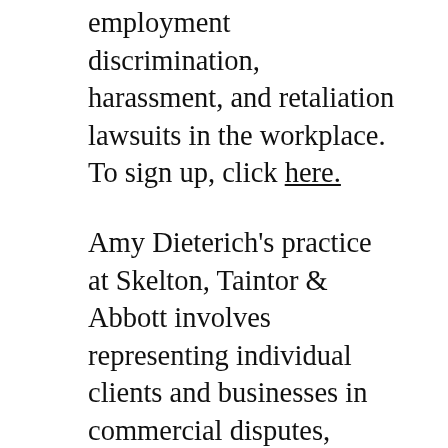employment discrimination, harassment, and retaliation lawsuits in the workplace.  To sign up, click here.
Amy Dieterich's practice at Skelton, Taintor & Abbott involves representing individual clients and businesses in commercial disputes, employment and labor law issues, family matters, as well as litigation, arbitration, and regulatory proceedings. She has been selected for inclusion in 2017, 2018 and 2019 New England Rising Stars© in the category of Business Litigation.